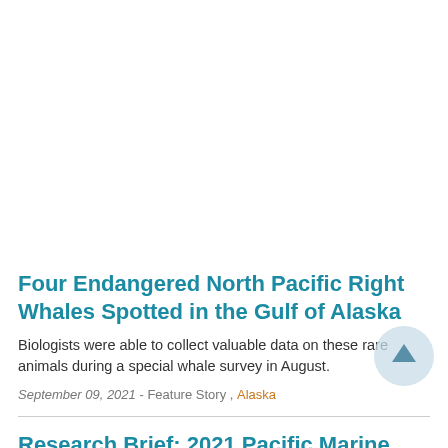Four Endangered North Pacific Right Whales Spotted in the Gulf of Alaska
Biologists were able to collect valuable data on these rare animals during a special whale survey in August.
September 09, 2021 - Feature Story , Alaska
Research Brief: 2021 Pacific Marine Assessment